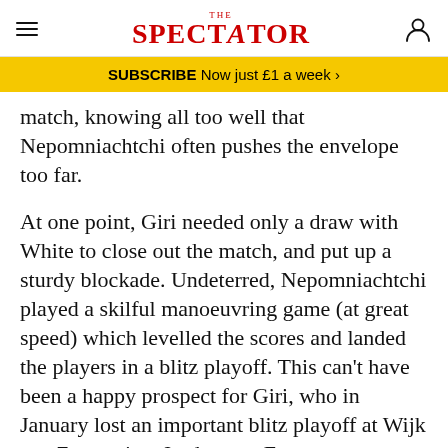THE SPECTATOR
SUBSCRIBE Now just £1 a week >
match, knowing all too well that Nepomniachtchi often pushes the envelope too far.
At one point, Giri needed only a draw with White to close out the match, and put up a sturdy blockade. Undeterred, Nepomniachtchi played a skilful manoeuvring game (at great speed) which levelled the scores and landed the players in a blitz playoff. This can't have been a happy prospect for Giri, who in January lost an important blitz playoff at Wijk aan Zee against Jorden van Foreest.
The first game (shown below) saw Giri with the White pieces and what began as a Sicilian soon